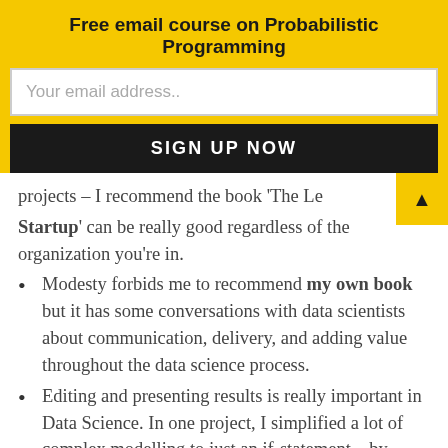Free email course on Probabilistic Programming
Your email address..
SIGN UP NOW
projects – I recommend the book 'The Le Startup' can be really good regardless of the organization you're in.
Modesty forbids me to recommend my own book but it has some conversations with data scientists about communication, delivery, and adding value throughout the data science process.
Editing and presenting results is really important in Data Science. In one project, I simplified a lot of complex modelling to just an if-statement – by focusing on the business deliverables and the most